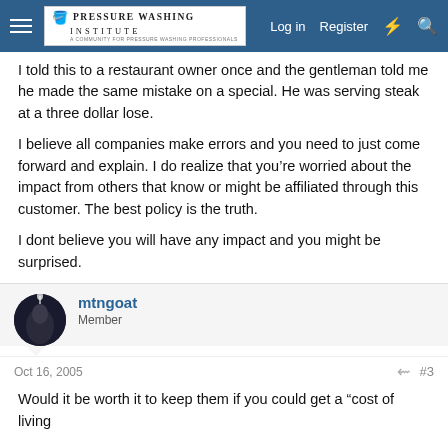Pressure Washing Institute — Log in | Register
I told this to a restaurant owner once and the gentleman told me he made the same mistake on a special. He was serving steak at a three dollar lose.
I believe all companies make errors and you need to just come forward and explain. I do realize that you're worried about the impact from others that know or might be affiliated through this customer. The best policy is the truth.
I dont believe you will have any impact and you might be surprised.
mtngoat
Member
Oct 16, 2005
#3
Would it be worth it to keep them if you could get a "cost of living